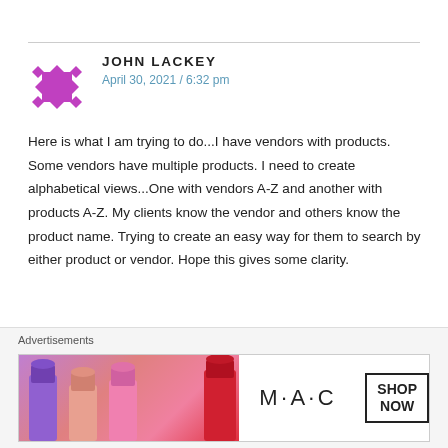JOHN LACKEY
April 30, 2021 / 6:32 pm
Here is what I am trying to do...I have vendors with products. Some vendors have multiple products. I need to create alphabetical views...One with vendors A-Z and another with products A-Z. My clients know the vendor and others know the product name. Trying to create an easy way for them to search by either product or vendor. Hope this gives some clarity.
Like
Advertisements
[Figure (photo): MAC cosmetics advertisement banner showing colorful lipsticks on the left, MAC logo in the center, and SHOP NOW button on the right]